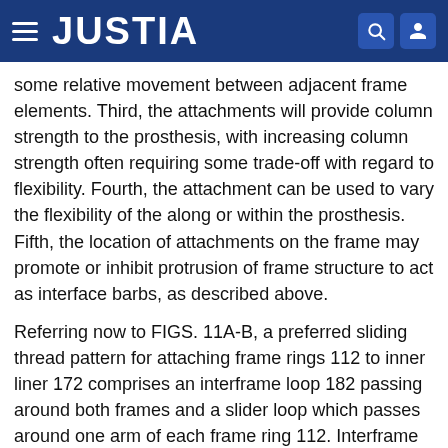JUSTIA
some relative movement between adjacent frame elements. Third, the attachments will provide column strength to the prosthesis, with increasing column strength often requiring some trade-off with regard to flexibility. Fourth, the attachment can be used to vary the flexibility of the along or within the prosthesis. Fifth, the location of attachments on the frame may promote or inhibit protrusion of frame structure to act as interface barbs, as described above.
Referring now to FIGS. 11A-B, a preferred sliding thread pattern for attaching frame rings 112 to inner liner 172 comprises an interframe loop 182 passing around both frames and a slider loop which passes around one arm of each frame ring 112. Interframe loop 182 limits to distance between the frames under tension, as seen in FIG. 11A. Optionally, multiple interframe loops may be